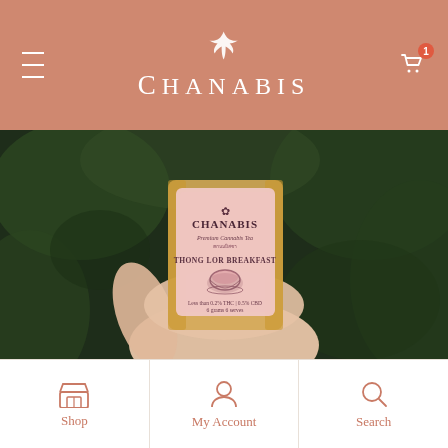Chanabis - header navigation with logo, menu and cart
[Figure (photo): A hand holding a gold and pink Chanabis Premium Cannabis Tea bag labeled 'THONG LOR BREAKFAST', against a dark green blurred background]
Shop | My Account | Search